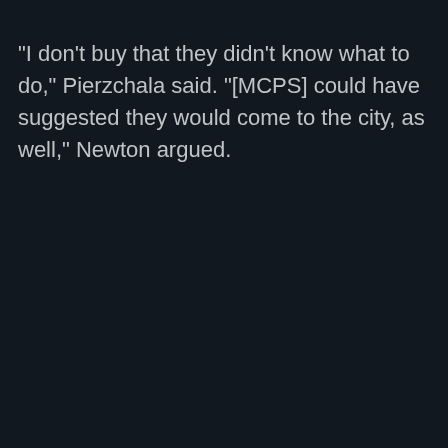"I don't buy that they didn't know what to do," Pierzchala said. "[MCPS] could have suggested they would come to the city, as well," Newton argued.